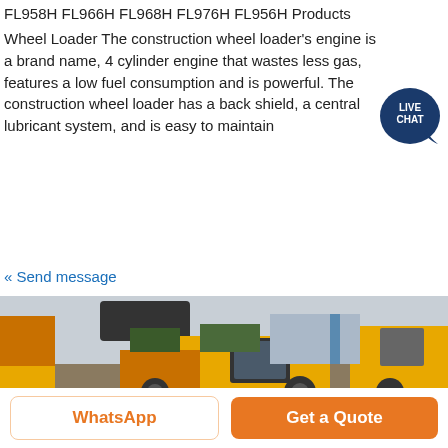FL958H FL966H FL968H FL976H FL956H Products
Wheel Loader The construction wheel loader's engine is a brand name, 4 cylinder engine that wastes less gas, features a low fuel consumption and is powerful. The construction wheel loader has a back shield, a central lubricant system, and is easy to maintain
« Send message
[Figure (photo): Multiple yellow wheel loaders parked in a yard with a building and trees in the background. One loader has its bucket raised. Overcast sky.]
WhatsApp
Get a Quote